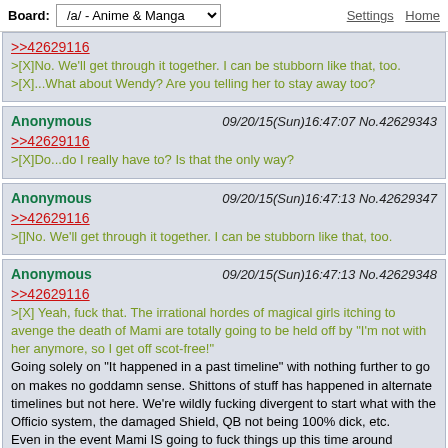Board: /a/ - Anime & Manga | Settings Home
>>42629116
>[X]No. We'll get through it together. I can be stubborn like that, too.
>[X]...What about Wendy? Are you telling her to stay away too?
Anonymous 09/20/15(Sun)16:47:07 No.42629343
>>42629116
>[X]Do...do I really have to? Is that the only way?
Anonymous 09/20/15(Sun)16:47:13 No.42629347
>>42629116
>[]No. We'll get through it together. I can be stubborn like that, too.
Anonymous 09/20/15(Sun)16:47:13 No.42629348
>>42629116
>[X] Yeah, fuck that. The irrational hordes of magical girls itching to avenge the death of Mami are totally going to be held off by "I'm not with her anymore, so I get off scot-free!"
Going solely on "It happened in a past timeline" with nothing further to go on makes no goddamn sense. Shittons of stuff has happened in alternate timelines but not here. We're wildly fucking divergent to start what with the Officio system, the damaged Shield, QB not being 100% dick, etc.
Even in the event Mami IS going to fuck things up this time around